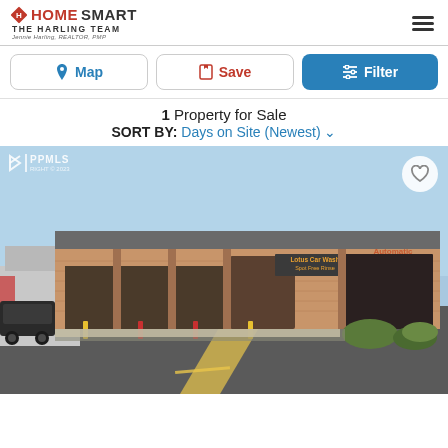[Figure (logo): HomeSmart logo with diamond icon and The Harling Team, Jennie Harling, REALTOR, PMP text]
1 Property for Sale
SORT BY: Days on Site (Newest)
[Figure (photo): Exterior photo of Lotus Car Wash commercial building with brick facade, garage doors, and parking lot. Signs read 'Lotus Car Wash Spot Free Rinse' and 'Automatic'. PPMLS logo watermark in top-left corner.]